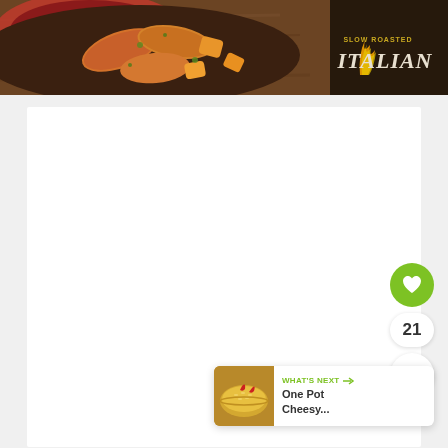[Figure (photo): Banner image of a pan of slow roasted Italian sausages with vegetables on a wooden table. Text overlay reads 'SLOW ROASTED ITALIAN' with flame graphics on dark background at right.]
[Figure (screenshot): Large white content card area (blank/empty main content region of a webpage).]
[Figure (infographic): Green circular heart/like button, count badge showing '21', and white circular share button with share icon, stacked vertically on right side.]
[Figure (infographic): WHAT'S NEXT card with thumbnail image of cheesy rice dish and text 'One Pot Cheesy...' in bottom right corner.]